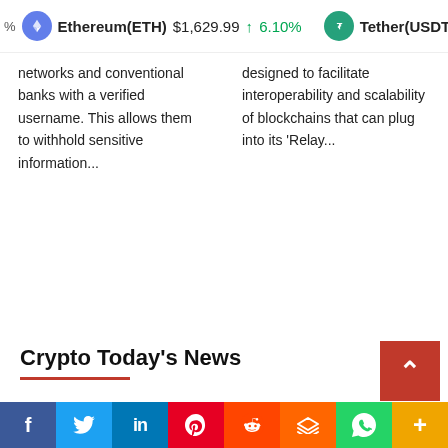Ethereum(ETH) $1,629.99 ↑ 6.10% Tether(USDT) $1.00
networks and conventional banks with a verified username. This allows them to withhold sensitive information...
designed to facilitate interoperability and scalability of blockchains that can plug into its 'Relay...
Crypto Today's News
Altcoin News
Bitcoin News
Blockchain News
Ethereum News
Market Analysis